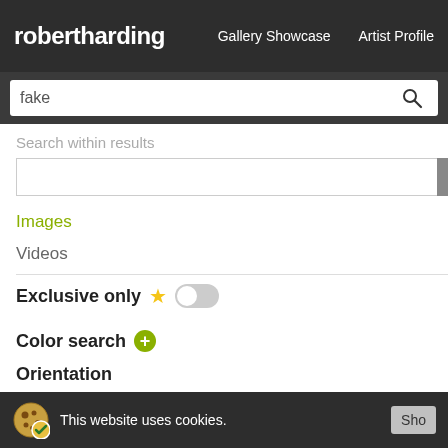robertharding  Gallery Showcase  Artist Profile
fake
Search within results
Images  108
Videos  0
Exclusive only
Color search
Orientation
Horizontal
Vertical
Panoramic
[Figure (other): Loading spinner dots arranged in a circle (green dots), appearing twice on the right panel]
This website uses cookies.